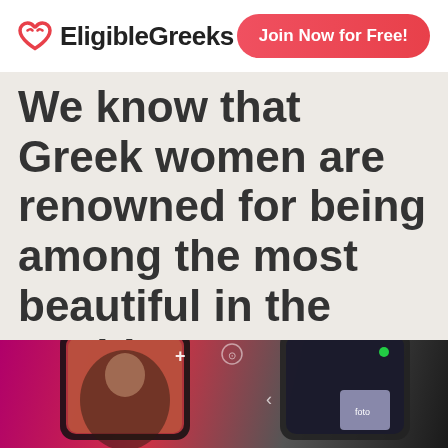EligibleGreeks | Join Now for Free!
We know that Greek women are renowned for being among the most beautiful in the world. You can meet them on EligibleGreeks.
[Figure (logo): Red open heart logo icon for EligibleGreeks]
EligibleGreeks is powered by World Singles Networks
[Figure (photo): Phone screens showing a dating app interface with photos of people, pink and dark background]